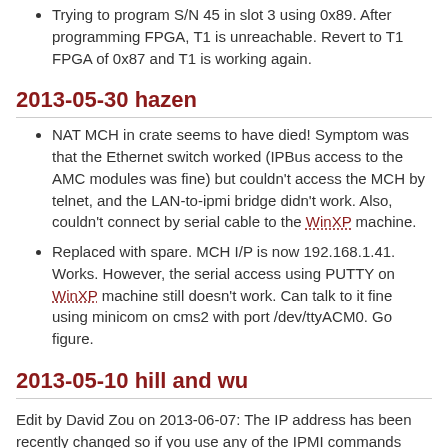Trying to program S/N 45 in slot 3 using 0x89. After programming FPGA, T1 is unreachable. Revert to T1 FPGA of 0x87 and T1 is working again.
2013-05-30 hazen
NAT MCH in crate seems to have died! Symptom was that the Ethernet switch worked (IPBus access to the AMC modules was fine) but couldn't access the MCH by telnet, and the LAN-to-ipmi bridge didn't work. Also, couldn't connect by serial cable to the WinXP machine.
Replaced with spare. MCH I/P is now 192.168.1.41. Works. However, the serial access using PUTTY on WinXP machine still doesn't work. Can talk to it fine using minicom on cms2 with port /dev/ttyACM0. Go figure.
2013-05-10 hill and wu
Edit by David Zou on 2013-06-07: The IP address has been recently changed so if you use any of the IPMI commands described below, make sure to use the new IP address: